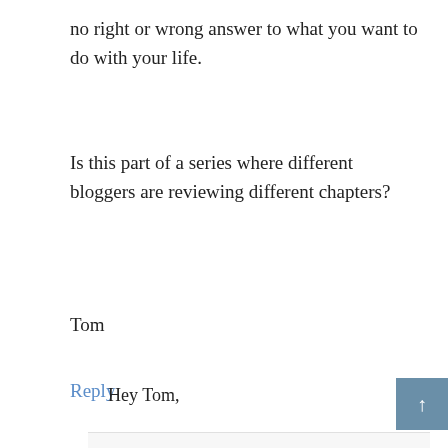no right or wrong answer to what you want to do with your life.
Is this part of a series where different bloggers are reviewing different chapters?
Tom
Reply
The Rich Miser says
April 13, 2018 at 12:31 am
Hey Tom,